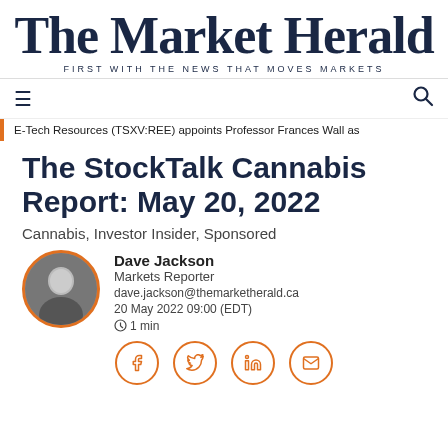The Market Herald — FIRST WITH THE NEWS THAT MOVES MARKETS
E-Tech Resources (TSXV:REE) appoints Professor Frances Wall as
The StockTalk Cannabis Report: May 20, 2022
Cannabis, Investor Insider, Sponsored
Dave Jackson
Markets Reporter
dave.jackson@themarketherald.ca
20 May 2022 09:00 (EDT)
1 min